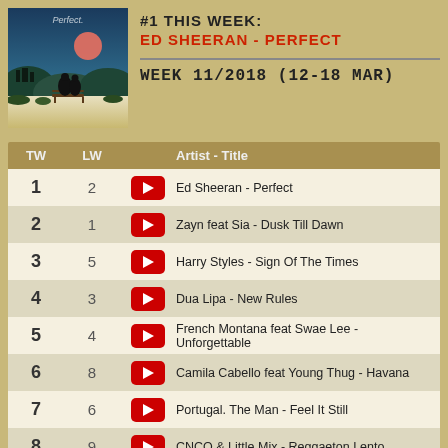[Figure (illustration): Album art for Ed Sheeran - Perfect showing illustrated couple on a bench at sunset with blue and teal landscape]
#1 THIS WEEK:
ED SHEERAN - PERFECT
WEEK 11/2018 (12-18 MAR)
| TW | LW |  | Artist - Title |
| --- | --- | --- | --- |
| 1 | 2 | ▶ | Ed Sheeran - Perfect |
| 2 | 1 | ▶ | Zayn feat Sia - Dusk Till Dawn |
| 3 | 5 | ▶ | Harry Styles - Sign Of The Times |
| 4 | 3 | ▶ | Dua Lipa - New Rules |
| 5 | 4 | ▶ | French Montana feat Swae Lee - Unforgettable |
| 6 | 8 | ▶ | Camila Cabello feat Young Thug - Havana |
| 7 | 6 | ▶ | Portugal. The Man - Feel It Still |
| 8 | 9 | ▶ | CNCO & Little Mix - Reggaeton Lento |
| 9 | 11 | ▶ | Charlie Puth - How Long |
| 10 | 7 | ▶ | ... |